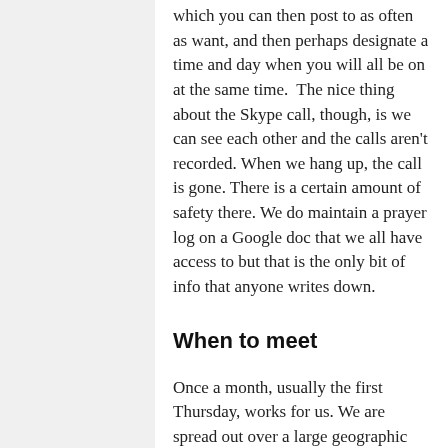which you can then post to as often as want, and then perhaps designate a time and day when you will all be on at the same time.  The nice thing about the Skype call, though, is we can see each other and the calls aren't recorded. When we hang up, the call is gone. There is a certain amount of safety there. We do maintain a prayer log on a Google doc that we all have access to but that is the only bit of info that anyone writes down.
When to meet
Once a month, usually the first Thursday, works for us. We are spread out over a large geographic area. I take the Skype call at noon on the West Coast and Elizabeth, for example, takes it at 9PM in Europe. We found a time that works for the six of us about ninety percent of the time. Sometimes we move the meeting time if too many of us are traveling or otherwise engaged. So many people lead such busy lives; this may